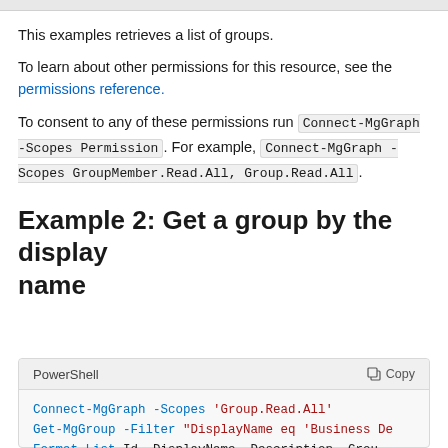This examples retrieves a list of groups.
To learn about other permissions for this resource, see the permissions reference.
To consent to any of these permissions run Connect-MgGraph -Scopes Permission. For example, Connect-MgGraph -Scopes GroupMember.Read.All, Group.Read.All.
Example 2: Get a group by the display name
[Figure (screenshot): PowerShell code block with Copy button, containing: Connect-MgGraph -Scopes 'Group.Read.All' / Get-MgGroup -Filter "DisplayName eq 'Business De... / Format-List Id, DisplayName, Description, Grou...]